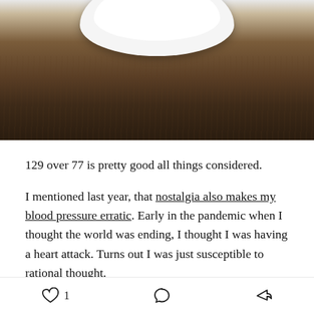[Figure (photo): Photo of a white plate on a wooden surface, viewed from above, partially cropped at the top of the image]
129 over 77 is pretty good all things considered.
I mentioned last year, that nostalgia also makes my blood pressure erratic. Early in the pandemic when I thought the world was ending, I thought I was having a heart attack. Turns out I was just susceptible to rational thought.
Anyway, as a natural effect of curbing alcohol, I lost my appetite for snacks, and lost some weight, gained [cut off]
Heart (like/1) | Comment | Share icons